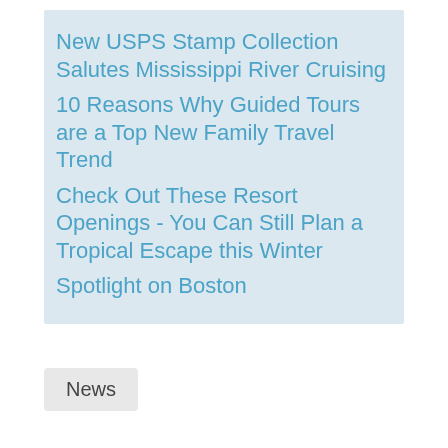New USPS Stamp Collection Salutes Mississippi River Cruising
10 Reasons Why Guided Tours are a Top New Family Travel Trend
Check Out These Resort Openings - You Can Still Plan a Tropical Escape this Winter
Spotlight on Boston
News